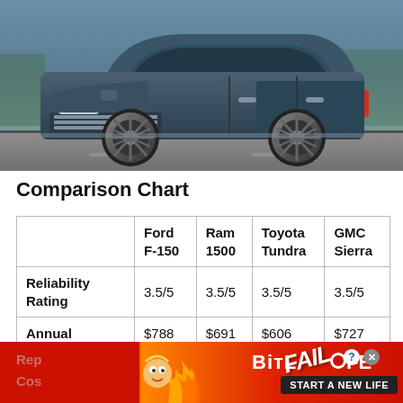[Figure (photo): Front view of a dark blue GMC Sierra or similar full-size pickup truck/SUV on a road with landscape background]
Comparison Chart
|  | Ford F-150 | Ram 1500 | Toyota Tundra | GMC Sierra |
| --- | --- | --- | --- | --- |
| Reliability Rating | 3.5/5 | 3.5/5 | 3.5/5 | 3.5/5 |
| Annual | $788 | $691 | $606 | $727 |
| Rep... Cos... |  |  |  |  |
[Figure (screenshot): BitLife advertisement banner with FAIL text and cartoon character, red/orange background, START A NEW LIFE button]